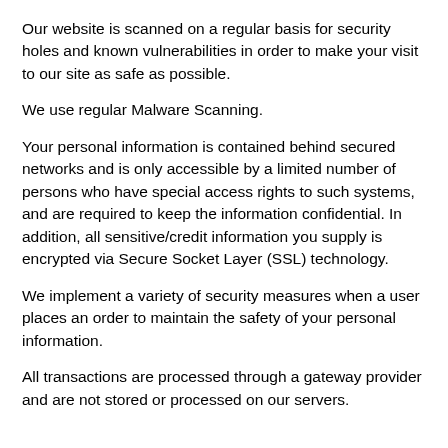Our website is scanned on a regular basis for security holes and known vulnerabilities in order to make your visit to our site as safe as possible.
We use regular Malware Scanning.
Your personal information is contained behind secured networks and is only accessible by a limited number of persons who have special access rights to such systems, and are required to keep the information confidential. In addition, all sensitive/credit information you supply is encrypted via Secure Socket Layer (SSL) technology.
We implement a variety of security measures when a user places an order to maintain the safety of your personal information.
All transactions are processed through a gateway provider and are not stored or processed on our servers.